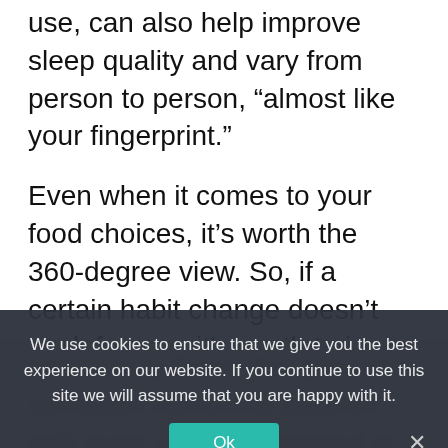use, can also help improve sleep quality and vary from person to person, “almost like your fingerprint.”
Even when it comes to your food choices, it’s worth the 360-degree view. So, if a certain habit change doesn’t work for you, it’s worth trying a few other things until you find the routine that works best for you.
Says Michael A. Granner, Ph.D., MTR, author of sleep and health.
particularly those that provide adequate nutritional balance with most calories ingested in greater concentration in the
We use cookies to ensure that we give you the best experience on our website. If you continue to use this site we will assume that you are happy with it.